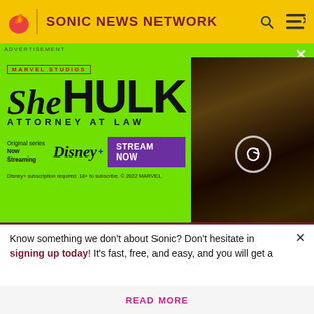SONIC NEWS NETWORK
[Figure (photo): She-Hulk: Attorney at Law advertisement banner on Sonic News Network wiki site. Green background with She-Hulk logo, Disney+ streaming info, and actress photo on right.]
ADVERTISEMENT
|  | system message. |
| MediaWiki:protect-dropdown | The "Reason" list that appears in the process of protecting a page can be customized from this system |
Know something we don't about Sonic? Don't hesitate in signing up today! It's fast, free, and easy, and you will get a
READ MORE